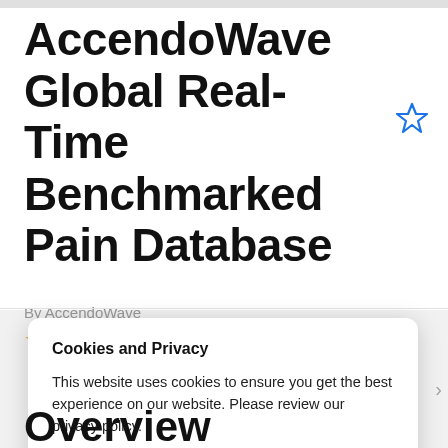AccendoWave Global Real-Time Benchmarked Pain Database
By AccendoWave
Cookies and Privacy
This website uses cookies to ensure you get the best experience on our website. Please review our privacy policy.
Privacy policy
Accept
Overview